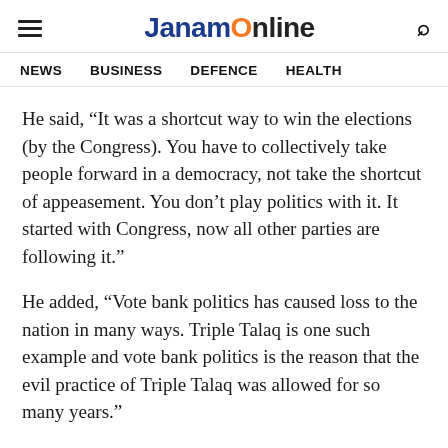JanamOnline
NEWS   BUSINESS   DEFENCE   HEALTH
He said, “It was a shortcut way to win the elections (by the Congress). You have to collectively take people forward in a democracy, not take the shortcut of appeasement. You don’t play politics with it. It started with Congress, now all other parties are following it.”
He added, “Vote bank politics has caused loss to the nation in many ways. Triple Talaq is one such example and vote bank politics is the reason that the evil practice of Triple Talaq was allowed for so many years.”
The Minister was speaking at the ‘Abolition of Triple